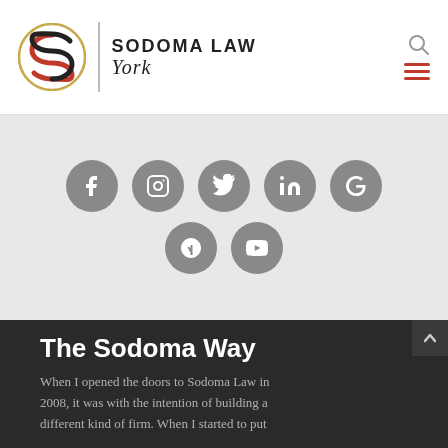[Figure (logo): Sodoma Law York logo with circular S emblem, vertical divider, and text 'SODOMA LAW York' in bold and italic]
[Figure (infographic): Row of 5 gray circular social media icons: Facebook, Instagram, Twitter, LinkedIn, Google. Second row: Yelp, YouTube.]
The Sodoma Way
When I opened the doors to Sodoma Law in 2008, it was with the intention of building a different kind of firm. When I started to put